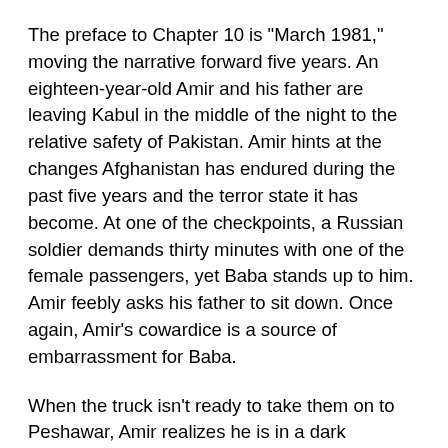The preface to Chapter 10 is "March 1981," moving the narrative forward five years. An eighteen-year-old Amir and his father are leaving Kabul in the middle of the night to the relative safety of Pakistan. Amir hints at the changes Afghanistan has endured during the past five years and the terror state it has become. At one of the checkpoints, a Russian soldier demands thirty minutes with one of the female passengers, yet Baba stands up to him. Amir feebly asks his father to sit down. Once again, Amir's cowardice is a source of embarrassment for Baba.
When the truck isn't ready to take them on to Peshawar, Amir realizes he is in a dark basement room with about thirty others. Among those others is Kamal, one of the boys who hung around Assef. Catching snippets of conversation, Amir overhears that Kamal had an encounter with four men who presumably treated him the way Assef treated Hassan.